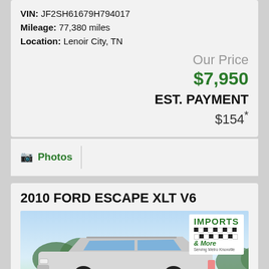VIN: JF2SH61679H794017
Mileage: 77,380 miles
Location: Lenoir City, TN
Our Price
$7,950
EST. PAYMENT
$154*
Photos
2010 FORD ESCAPE XLT V6
[Figure (photo): Photo of a 2010 Ford Escape XLT V6 SUV with an Imports & More dealership logo overlay. The vehicle is silver/white, shown against a background with trees and sky. The Imports & More logo is in the upper right with a checkered pattern.]